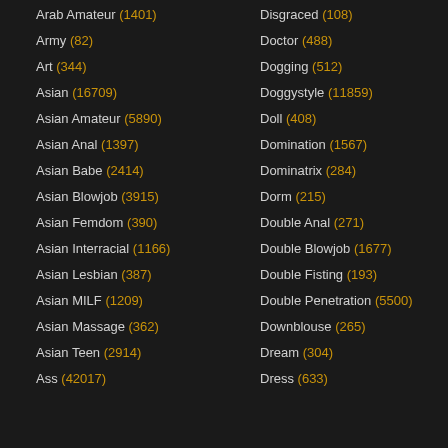Arab Amateur (1401)
Army (82)
Art (344)
Asian (16709)
Asian Amateur (5890)
Asian Anal (1397)
Asian Babe (2414)
Asian Blowjob (3915)
Asian Femdom (390)
Asian Interracial (1166)
Asian Lesbian (387)
Asian MILF (1209)
Asian Massage (362)
Asian Teen (2914)
Ass (42017)
Disgraced (108)
Doctor (488)
Dogging (512)
Doggystyle (11859)
Doll (408)
Domination (1567)
Dominatrix (284)
Dorm (215)
Double Anal (271)
Double Blowjob (1677)
Double Fisting (193)
Double Penetration (5500)
Downblouse (265)
Dream (304)
Dress (633)